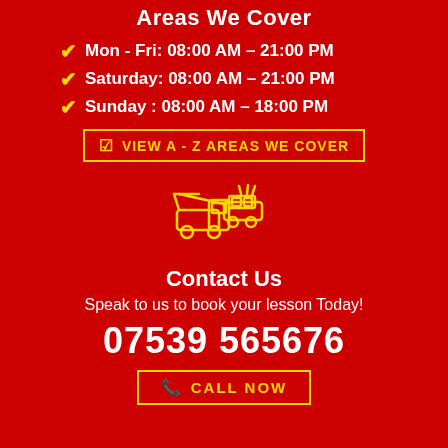Areas We Cover
Mon - Fri: 08:00 AM – 21:00 PM
Saturday: 08:00 AM – 21:00 PM
Sunday : 08:00 AM – 18:00 PM
VIEW A - Z AREAS WE COVER
[Figure (illustration): Yellow line illustration of a tow truck carrying a broken-down car]
Contact Us
Speak to us to book your lesson Today!
07539 565676
CALL NOW